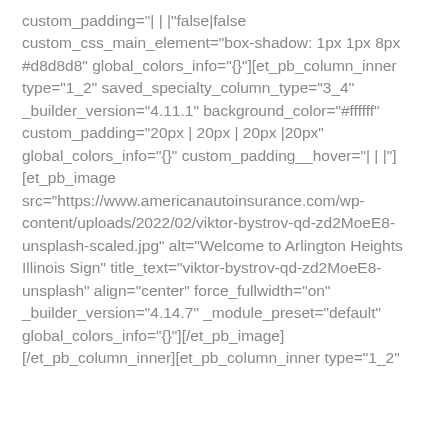custom_padding="| | |"false|false custom_css_main_element="box-shadow: 1px 1px 8px #d8d8d8" global_colors_info="{}"][et_pb_column_inner type="1_2" saved_specialty_column_type="3_4" _builder_version="4.11.1" background_color="#ffffff" custom_padding="20px | 20px | 20px |20px" global_colors_info="{}" custom_padding__hover="| | |"][et_pb_image src="https://www.americanautoinsurance.com/wp-content/uploads/2022/02/viktor-bystrov-qd-zd2MoeE8-unsplash-scaled.jpg" alt="Welcome to Arlington Heights Illinois Sign" title_text="viktor-bystrov-qd-zd2MoeE8-unsplash" align="center" force_fullwidth="on" _builder_version="4.14.7" _module_preset="default" global_colors_info="{}"][/et_pb_image][/et_pb_column_inner][et_pb_column_inner type="1_2"